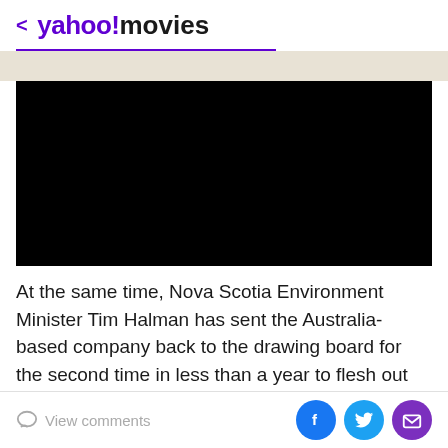< yahoo!movies
[Figure (screenshot): Black video placeholder rectangle]
At the same time, Nova Scotia Environment Minister Tim Halman has sent the Australia-based company back to the drawing board for the second time in less than a year to flesh out its expansion plans at the Touquoy operation near Moose River. At issue were missing
View comments